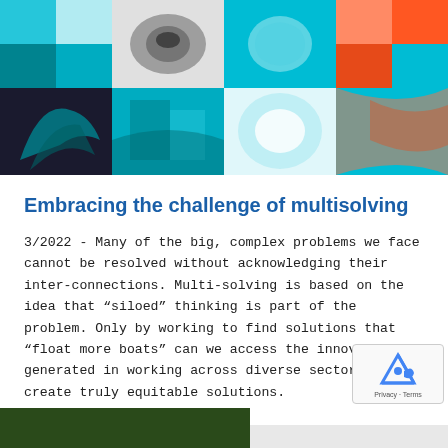[Figure (illustration): Mosaic header image composed of multiple square and rectangular tiles showing various abstract and photographic images in teal/cyan, black and white, and orange/red color schemes, including what appears to be biological or scientific imagery.]
Embracing the challenge of multisolving
3/2022 - Many of the big, complex problems we face cannot be resolved without acknowledging their inter-connections. Multi-solving is based on the idea that “siloed” thinking is part of the problem. Only by working to find solutions that “float more boats” can we access the innovation generated in working across diverse sectors and create truly equitable solutions.